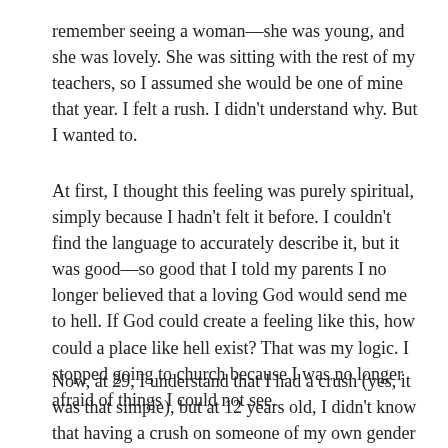remember seeing a woman—she was young, and she was lovely. She was sitting with the rest of my teachers, so I assumed she would be one of mine that year. I felt a rush. I didn't understand why. But I wanted to.
At first, I thought this feeling was purely spiritual, simply because I hadn't felt it before. I couldn't find the language to accurately describe it, but it was good—so good that I told my parents I no longer believed that a loving God would send me to hell. If God could create a feeling like this, how could a place like hell exist? That was my logic. I stopped going to church because I was no longer afraid of things I could not see.
Now, at 29, I understand that I had a crush (yes, it was that simple), but at 12 years old, I didn't know that having a crush on someone of my own gender was possible. I remember going to a psychic in Port Jefferson, asking her why I felt this way. She said, "Do you have romantic feelings towards this